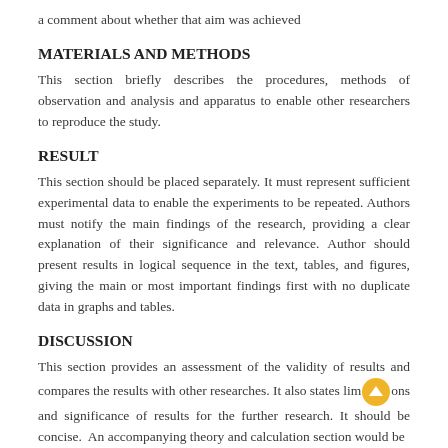a comment about whether that aim was achieved
MATERIALS AND METHODS
This section briefly describes the procedures, methods of observation and analysis and apparatus to enable other researchers to reproduce the study.
RESULT
This section should be placed separately. It must represent sufficient experimental data to enable the experiments to be repeated. Authors must notify the main findings of the research, providing a clear explanation of their significance and relevance. Author should present results in logical sequence in the text, tables, and figures, giving the main or most important findings first with no duplicate data in graphs and tables.
DISCUSSION
This section provides an assessment of the validity of results and compares the results with other researches. It also states limitations and significance of results for the further research. It should be concise.  An accompanying theory and calculation section would be